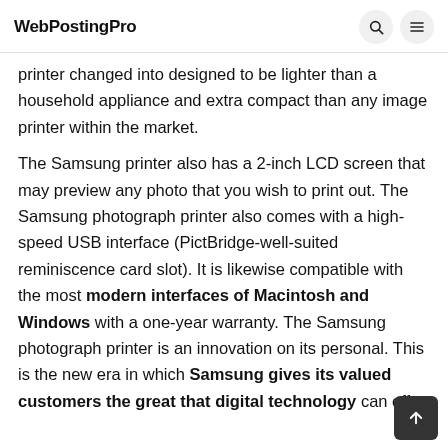WebPostingPro
printer changed into designed to be lighter than a household appliance and extra compact than any image printer within the market.
The Samsung printer also has a 2-inch LCD screen that may preview any photo that you wish to print out. The Samsung photograph printer also comes with a high-speed USB interface (PictBridge-well-suited reminiscence card slot). It is likewise compatible with the most modern interfaces of Macintosh and Windows with a one-year warranty. The Samsung photograph printer is an innovation on its personal. This is the new era in which Samsung gives its valued customers the great that digital technology can offer.